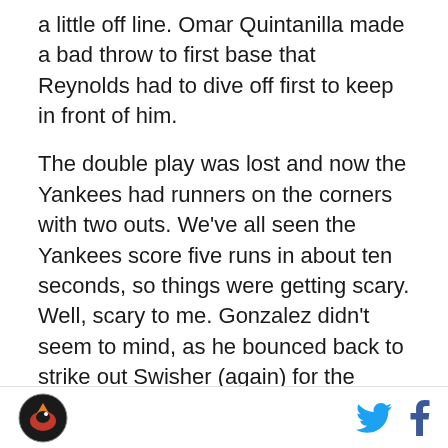a little off line. Omar Quintanilla made a bad throw to first base that Reynolds had to dive off first to keep in front of him.
The double play was lost and now the Yankees had runners on the corners with two outs. We've all seen the Yankees score five runs in about ten seconds, so things were getting scary. Well, scary to me. Gonzalez didn't seem to mind, as he bounced back to strike out Swisher (again) for the second out, and get out of the jam completely thanks to a first-pitch pop up from Cano. Masterful!
Gonzalez gave up two more singles in the seventh inning, but held on to preserve his shutout. And with
[Logo] [Twitter icon] [Facebook icon]